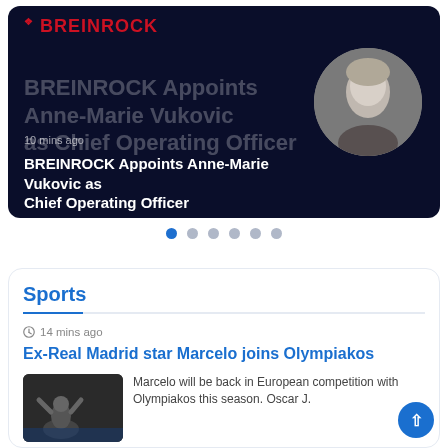[Figure (screenshot): BREINROCK news website hero banner showing appointment of Anne-Marie Vukovic as Chief Operating Officer, with a circular black-and-white headshot photo on dark navy background]
BREINROCK Appoints Anne-Marie Vukovic as Chief Operating Officer
10 mins ago
[Figure (other): Carousel pagination dots — 6 dots, first one highlighted in blue]
Sports
14 mins ago
Ex-Real Madrid star Marcelo joins Olympiakos
[Figure (photo): Thumbnail photo of Marcelo celebrating]
Marcelo will be back in European competition with Olympiakos this season. Oscar J.